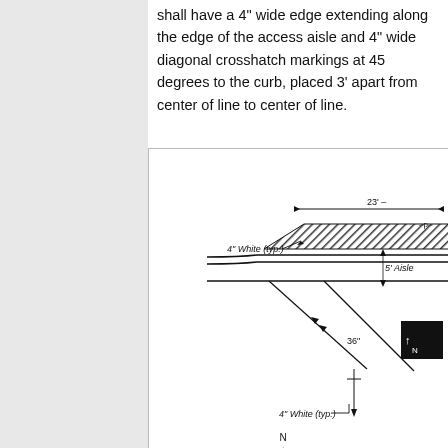shall have a 4" wide edge extending along the edge of the access aisle and 4" wide diagonal crosshatch markings at 45 degrees to the curb, placed 3' apart from center of line to center of line.
[Figure (engineering-diagram): Engineering diagram showing parking access aisle crosshatch markings with dimensions. Labels include '4" White (typ.)' appearing twice, '5' Aisle', '36"', and '23' -' dimension arrow at top. Diagonal crosshatch lines at approximately 45 degrees with dimension arrows.]